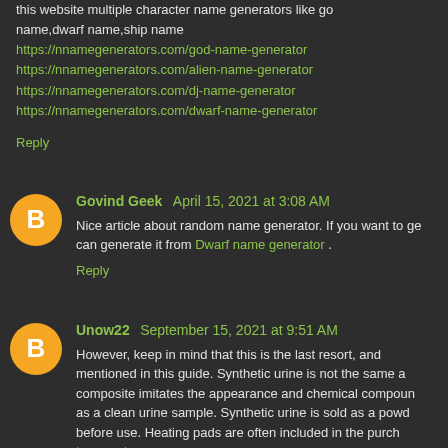this website multiple character name generators like god name,dwarf name,ship name
https://nnamegenerators.com/god-name-generator
https://nnamegenerators.com/alien-name-generator
https://nnamegenerators.com/dj-name-generator
https://nnamegenerators.com/dwarf-name-generator
Reply
Govind Geek  April 15, 2021 at 3:08 AM
Nice article about random name generator. If you want to ge... can generate it from Dwarf name generator .
Reply
Unow22  September 15, 2021 at 9:51 AM
However, keep in mind that this is the last resort, and mentioned in this guide. Synthetic urine is not the same a... composite imitates the appearance and chemical compoun... as a clean urine sample. Synthetic urine is sold as a powd... before use. Heating pads are often included in the purch... temperature.
Reply